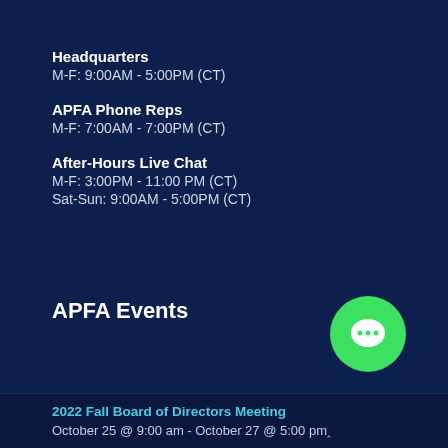Headquarters
M-F: 9:00AM - 5:00PM (CT)
APFA Phone Reps
M-F: 7:00AM - 7:00PM (CT)
After-Hours Live Chat
M-F: 3:00PM - 11:00 PM (CT)
Sat-Sun: 9:00AM - 5:00PM (CT)
APFA Events
[Figure (illustration): Green circle with white speech/chat bubble icon]
2022 Fall Board of Directors Meeting
October 25 @ 9:00 am - October 27 @ 5:00 pm